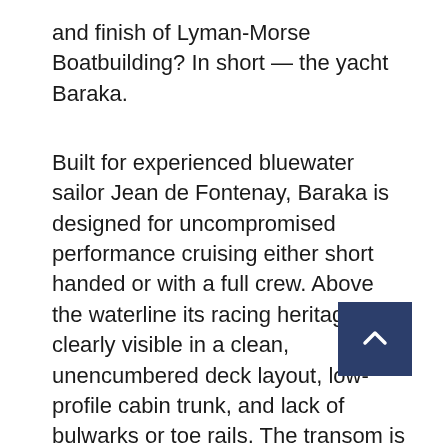and finish of Lyman-Morse Boatbuilding? In short — the yacht Baraka.
Built for experienced bluewater sailor Jean de Fontenay, Baraka is designed for uncompromised performance cruising either short handed or with a full crew. Above the waterline its racing heritage is clearly visible in a clean, unencumbered deck layout, low-profile cabin trunk, and lack of bulwarks or toe rails. The transom is wide open, and there are port and starboard pedestal wheels to assure excellent forward visibility. A very serious mainsheet traveler, a 12-cylinder hydraulic Navtec Commander system, is mounted just forward of the helm stations and aft of the port and starboard cockpit settees and centerline carbon-fiber table. A massive Harken 990 hydraulic winch